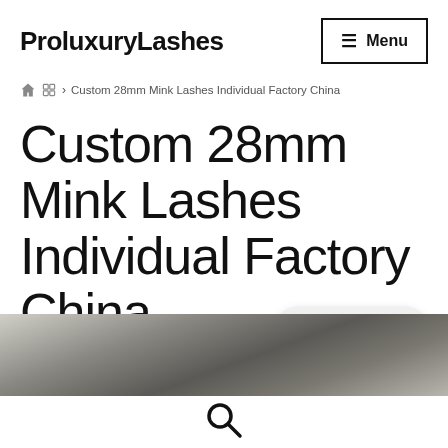ProluxuryLashes
Menu
Custom 28mm Mink Lashes Individual Factory China
Custom 28mm Mink Lashes Individual Factory China
[Figure (other): WhatsApp Free Sample badge button]
[Figure (photo): Partial photo of a person visible at the bottom of the page]
[Figure (other): Search icon at the bottom of the page]